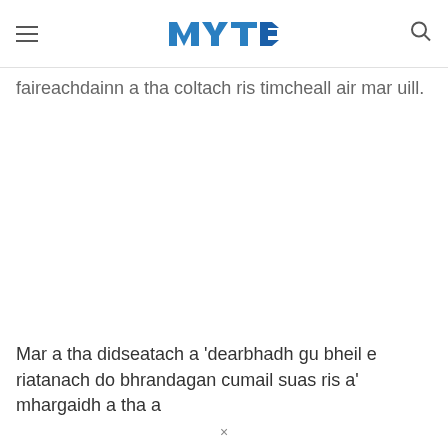MYT logo with hamburger menu and search icon
faireachdainn a tha coltach ris timcheall air mar uill.
Mar a tha didseatach a 'dearbhadh gu bheil e riatanach do bhrandagan cumail suas ris a' mhargaidh a tha a